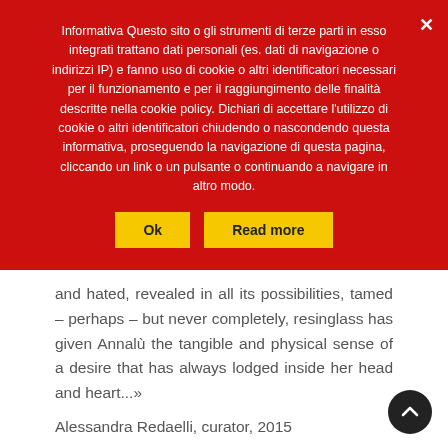Informativa Questo sito o gli strumenti di terze parti in esso integrati trattano dati personali (es. dati di navigazione o indirizzi IP) e fanno uso di cookie o altri identificatori necessari per il funzionamento e per il raggiungimento delle finalità descritte nella cookie policy. Dichiari di accettare l'utilizzo di cookie o altri identificatori chiudendo o nascondendo questa informativa, proseguendo la navigazione di questa pagina, cliccando un link o un pulsante o continuando a navigare in altro modo.
Ok
Read more
and hated, revealed in all its possibilities, tamed – perhaps – but never completely, resinglass has given Annalù the tangible and physical sense of a desire that has always lodged inside her head and heart...»
Alessandra Redaelli, curator, 2015